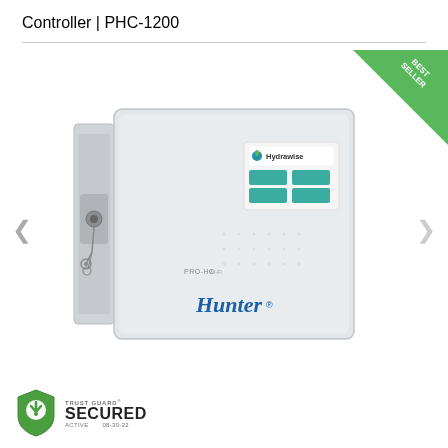Controller | PHC-1200
[Figure (photo): Hunter PRO-HC irrigation controller with Hydrawise smart control panel, mounted in a metallic enclosure with a lock and keys visible on the left side. The controller door is open showing the touchscreen display with Hydrawise branding and green buttons. 'Hunter' brand name appears on the lower front panel.]
[Figure (logo): Trust Guard Secured Active badge showing shield icon with keyhole, text reading TRUST GUARD SECURED ACTIVE 08-30-22]